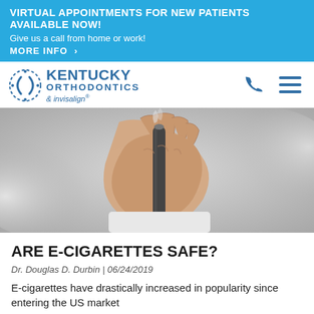VIRTUAL APPOINTMENTS FOR NEW PATIENTS AVAILABLE NOW! Give us a call from home or work! MORE INFO >
[Figure (logo): Kentucky Orthodontics & invisalign logo with circular bracket emblem]
[Figure (photo): Close-up of a hand holding an e-cigarette/vape device with smoke in the background, black and white tones]
ARE E-CIGARETTES SAFE?
Dr. Douglas D. Durbin | 06/24/2019
E-cigarettes have drastically increased in popularity since entering the US market
Read